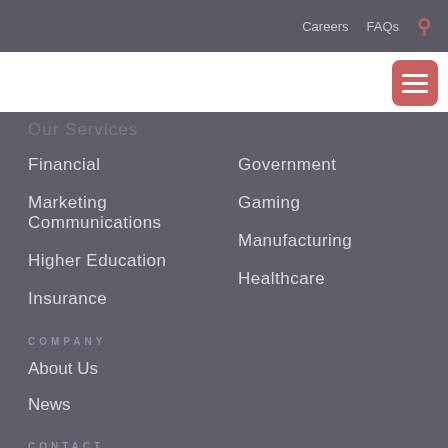Careers   FAQs   🔍
OUR SERVICES
Financial
Government
Marketing Communications
Gaming
Higher Education
Manufacturing
Insurance
Healthcare
COMPANY
About Us
News
CONTACT
Contact